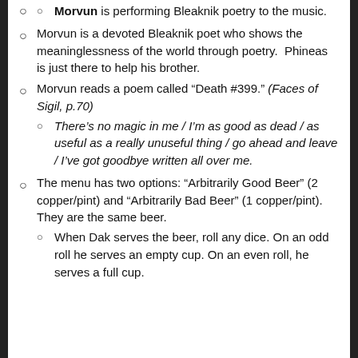Morvun is performing Bleaknik poetry to the music.
Morvun is a devoted Bleaknik poet who shows the meaninglessness of the world through poetry.  Phineas is just there to help his brother.
Morvun reads a poem called “Death #399.” (Faces of Sigil, p.70)
There’s no magic in me / I’m as good as dead / as useful as a really unuseful thing / go ahead and leave / I’ve got goodbye written all over me.
The menu has two options: “Arbitrarily Good Beer” (2 copper/pint) and “Arbitrarily Bad Beer” (1 copper/pint).  They are the same beer.
When Dak serves the beer, roll any dice. On an odd roll he serves an empty cup. On an even roll, he serves a full cup.